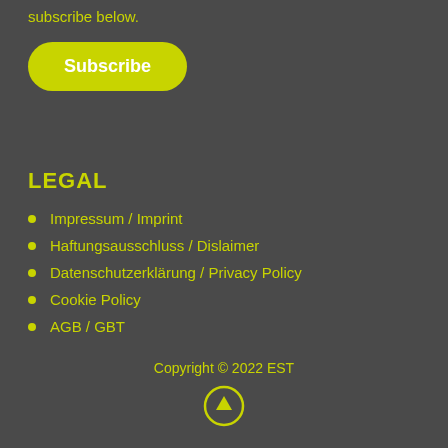subscribe below.
[Figure (other): Subscribe button - yellow/green pill-shaped button with white bold text 'Subscribe']
LEGAL
Impressum / Imprint
Haftungsausschluss / Dislaimer
Datenschutzerklärung / Privacy Policy
Cookie Policy
AGB / GBT
Copyright © 2022 EST
[Figure (other): Up arrow icon in a circle, yellow/green outline]